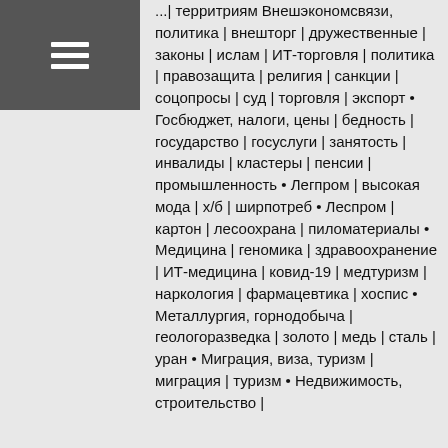[Figure (other): Hamburger menu icon — three white horizontal lines on dark grey background]
...| территриям Внешэкономсвязи, политика | внешторг | дружественные | законы | ислам | ИТ-торговля | политика | правозащита | религия | санкции | соцопросы | суд | торговля | экспорт • Госбюджет, налоги, цены | бедность | государство | госуслуги | занятость | инвалиды | кластеры | пенсии | промышленность • Легпром | высокая мода | х/б | ширпотреб • Леспром | картон | лесоохрана | пиломатериалы • Медицина | геномика | здравоохранение | ИТ-медицина | ковид-19 | медтуризм | наркология | фармацевтика | хоспис • Металлургия, горнодобыча | геологоразведка | золото | медь | сталь | уран • Миграция, виза, туризм | миграция | туризм • Недвижимость, строительство |